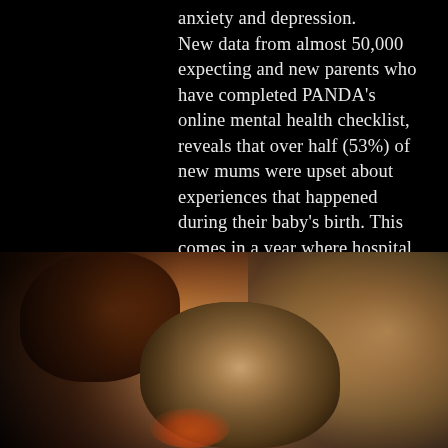anxiety and depression. New data from almost 50,000 expecting and new parents who have completed PANDA's online mental health checklist, reveals that over half (53%) of new mums were upset about experiences that happened during their baby's birth. This comes in a year where hospital visits were cut, and many fathers were unable to remain with their partner and new baby during the birth or immediately after.
[Figure (photo): A dark, close-up photograph of what appears to be an Indigenous Australian adult cradling or holding a young child. The child's face is visible in the center-right of the frame, with dark curly hair and wide eyes looking toward the camera. The background is warm and blurred with brown/amber tones. The adult's face is partially visible, dark-skinned, leaning toward the child. A hint of an orange garment is visible.]